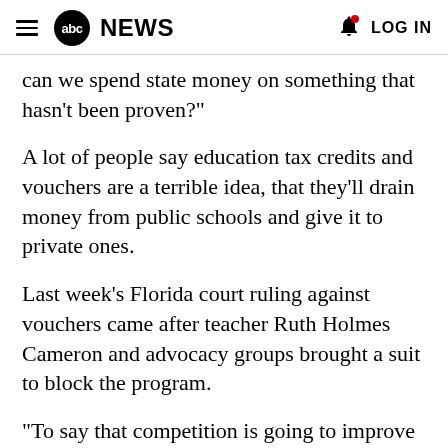abc NEWS  LOG IN
can we spend state money on something that hasn't been proven?"
A lot of people say education tax credits and vouchers are a terrible idea, that they'll drain money from public schools and give it to private ones.
Last week's Florida court ruling against vouchers came after teacher Ruth Holmes Cameron and advocacy groups brought a suit to block the program.
"To say that competition is going to improve education? It's just not gonna work. You know